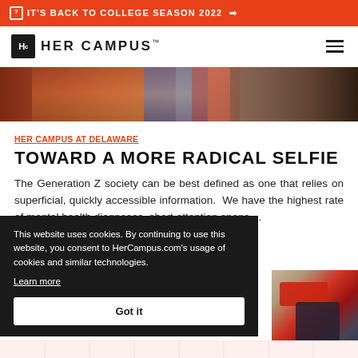IT'S BACK TO COLLEGE SEASON 2022 →
HER CAMPUS™
[Figure (photo): Partial view of a person in colorful clothing, cropped at top]
HER CAMPUS AT DELAWARE
TOWARD A MORE RADICAL SELFIE
The Generation Z society can be best defined as one that relies on superficial, quickly accessible information.  We have the highest rate of mental health diagnoses, short attention spans,...
October 6, 2021
This website uses cookies. By continuing to use this website, you consent to HerCampus.com's usage of cookies and similar technologies. Learn more
[Figure (photo): Film canister and camera on wooden surface]